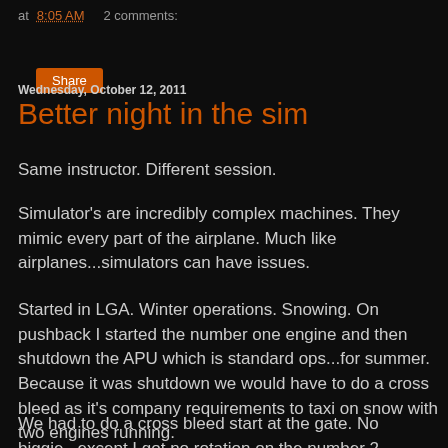at 8:05 AM   2 comments:
Share
Wednesday, October 12, 2011
Better night in the sim
Same instructor. Different session.
Simulator's are incredibly complex machines. They mimic every part of the airplane. Much like airplanes...simulators can have issues.
Started in LGA. Winter operations. Snowing. On pushback I started the number one engine and then shutdown the APU which is standard ops...for summer. Because it was shutdown we would have to do a cross bleed as it's company requirements to taxi on snow with two engines running.
We had to do a cross bleed start at the gate. No biggie...except I got no rotation on the number 2 engine. I th...